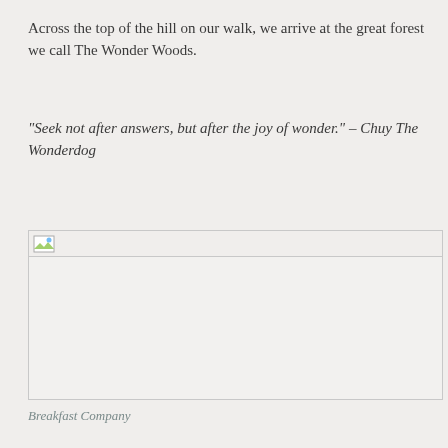Across the top of the hill on our walk, we arrive at the great forest we call The Wonder Woods.
“Seek not after answers, but after the joy of wonder.” – Chuy The Wonderdog
[Figure (photo): Image placeholder - broken/missing image icon shown in top-left corner of a light gray rectangular image area]
Breakfast Company